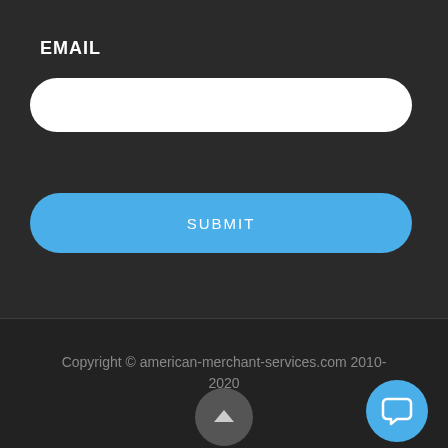EMAIL
[Figure (screenshot): White rounded input field for email]
[Figure (screenshot): Blue rounded submit button with text SUBMIT]
Copyright © american-merchant-services.com 2010-2020
[Figure (other): Grey circular scroll-to-top button with chevron up arrow]
[Figure (other): Blue circular chat button with speech bubble icon]